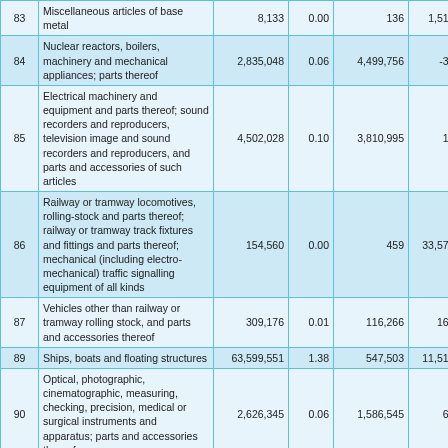|  | Description | Value | % | Previous Value | Change % |
| --- | --- | --- | --- | --- | --- |
| 83 | Miscellaneous articles of base metal | 8,133 | 0.00 | 136 | 1,518.91 |
| 84 | Nuclear reactors, boilers, machinery and mechanical appliances; parts thereof | 2,835,048 | 0.06 | 4,499,756 | -37.00 |
| 85 | Electrical machinery and equipment and parts thereof; sound recorders and reproducers, television image and sound recorders and reproducers, and parts and accessories of such articles | 4,502,028 | 0.10 | 3,810,995 | 18.13 |
| 86 | Railway or tramway locomotives, rolling-stock and parts thereof; railway or tramway track fixtures and fittings and parts thereof; mechanical (including electro-mechanical) traffic signalling equipment of all kinds | 154,560 | 0.00 | 459 | 33,573.20 |
| 87 | Vehicles other than railway or tramway rolling stock, and parts and accessories thereof | 309,176 | 0.01 | 116,266 | 165.92 |
| 89 | Ships, boats and floating structures | 63,599,551 | 1.38 | 547,503 | 11,516.29 |
| 90 | Optical, photographic, cinematographic, measuring, checking, precision, medical or surgical instruments and apparatus; parts and accessories thereof | 2,626,345 | 0.06 | 1,586,545 | 65.54 |
| 91 | Clocks and watches and parts thereof | 1,455 | 0.00 | 1,556 | -6.49 |
| 92 | Musical instruments; parts and accessories of such articles | 0 | 0.00 | 3,317 | -100.00 |
| 94 | Furniture; bedding, mattresses, mattress supports, cushions and similar stuffed furnishings; lamps... |  |  |  |  |